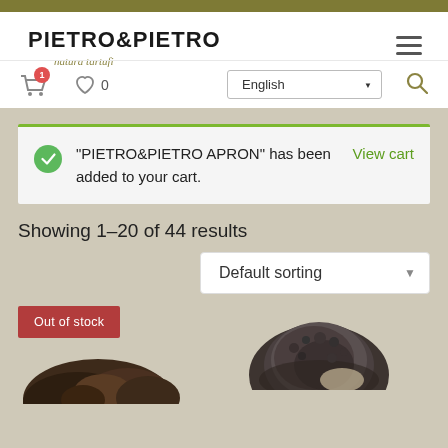PIETRO&PIETRO natura tartufi
"PIETRO&PIETRO APRON" has been added to your cart.
View cart
Showing 1–20 of 44 results
Default sorting
Out of stock
[Figure (photo): Two truffle product images partially visible at bottom of page]
English